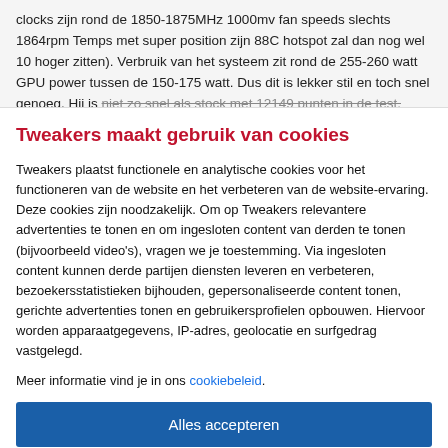clocks zijn rond de 1850-1875MHz 1000mv fan speeds slechts 1864rpm Temps met super position zijn 88C hotspot zal dan nog wel 10 hoger zitten). Verbruik van het systeem zit rond de 255-260 watt GPU power tussen de 150-175 watt. Dus dit is lekker stil en toch snel genoeg. Hij is niet zo snel als stock met 12149 punten in de test.
Tweakers maakt gebruik van cookies
Tweakers plaatst functionele en analytische cookies voor het functioneren van de website en het verbeteren van de website-ervaring. Deze cookies zijn noodzakelijk. Om op Tweakers relevantere advertenties te tonen en om ingesloten content van derden te tonen (bijvoorbeeld video's), vragen we je toestemming. Via ingesloten content kunnen derde partijen diensten leveren en verbeteren, bezoekersstatistieken bijhouden, gepersonaliseerde content tonen, gerichte advertenties tonen en gebruikersprofielen opbouwen. Hiervoor worden apparaatgegevens, IP-adres, geolocatie en surfgedrag vastgelegd.
Meer informatie vind je in ons cookiebeleid.
Alles accepteren
Alleen noodzakelijk
Voorkeuren aanpassen